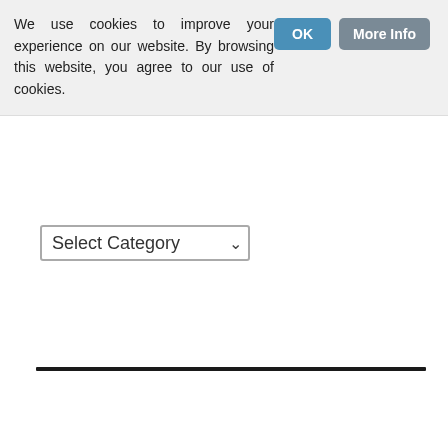We use cookies to improve your experience on our website. By browsing this website, you agree to our use of cookies.
OK
More Info
Select Category